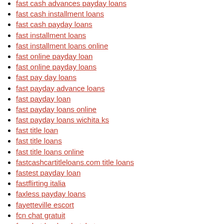fast cash advances payday loans
fast cash installment loans
fast cash payday loans
fast installment loans
fast installment loans online
fast online payday loan
fast online payday loans
fast pay day loans
fast payday advance loans
fast payday loan
fast payday loans online
fast payday loans wichita ks
fast title loan
fast title loans
fast title loans online
fastcashcartitleloans.com title loans
fastest payday loan
fastflirting italia
faxless payday loans
fayetteville escort
fcn chat gratuit
fcn chat hookup hotshot
FCN chat review
FCN chat username
fcnchat dating
fdating free online dating chat